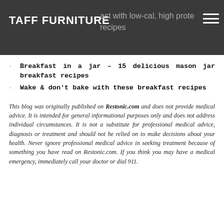TAFF FURNITURE  ...ast with low-cal, high prote... recipes
Breakfast in a jar – 15 delicious mason jar breakfast recipes
Wake & don't bake with these breakfast recipes
This blog was originally published on Restonic.com and does not provide medical advice. It is intended for general informational purposes only and does not address individual circumstances. It is not a substitute for professional medical advice, diagnosis or treatment and should not be relied on to make decisions about your health. Never ignore professional medical advice in seeking treatment because of something you have read on Restonic.com. If you think you may have a medical emergency, immediately call your doctor or dial 911.